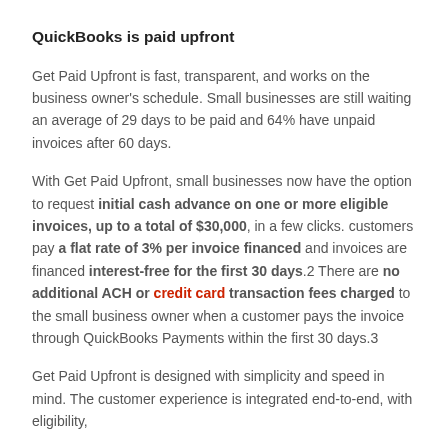QuickBooks is paid upfront
Get Paid Upfront is fast, transparent, and works on the business owner's schedule. Small businesses are still waiting an average of 29 days to be paid and 64% have unpaid invoices after 60 days.
With Get Paid Upfront, small businesses now have the option to request initial cash advance on one or more eligible invoices, up to a total of $30,000, in a few clicks. customers pay a flat rate of 3% per invoice financed and invoices are financed interest-free for the first 30 days.2 There are no additional ACH or credit card transaction fees charged to the small business owner when a customer pays the invoice through QuickBooks Payments within the first 30 days.3
Get Paid Upfront is designed with simplicity and speed in mind. The customer experience is integrated end-to-end, with eligibility,